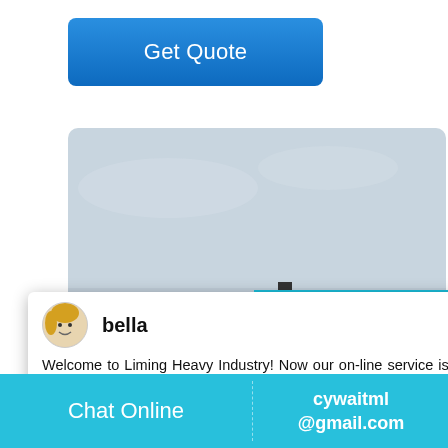Get Quote
[Figure (photo): Industrial/mining site with heavy equipment silhouette against overcast sky, sand or gravel piles and trucks in foreground]
bella
Welcome to Liming Heavy Industry! Now our on-line service is chatting with you! please choose: 1.English
1
Click me to chat >>
Enquiry
Chat Online
cywaitml@gmail.com